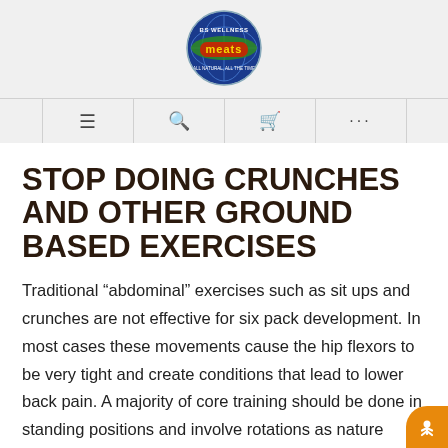[Figure (logo): BS Wellness Meats circular logo with globe and red text]
[Figure (other): Navigation bar with hamburger menu, search, cart, and more icons]
STOP DOING CRUNCHES AND OTHER GROUND BASED EXERCISES
Traditional “abdominal” exercises such as sit ups and crunches are not effective for six pack development. In most cases these movements cause the hip flexors to be very tight and create conditions that lead to lower back pain. A majority of core training should be done in standing positions and involve rotations as nature intended.
The core muscles were designed to work together in